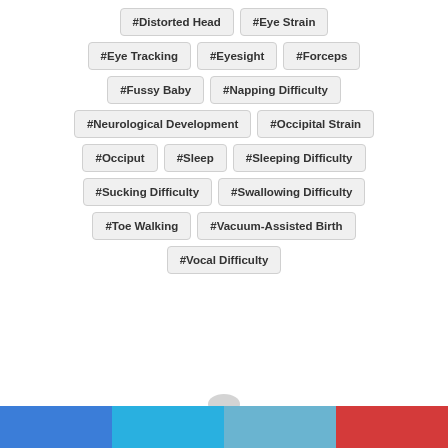#Distorted Head
#Eye Strain
#Eye Tracking
#Eyesight
#Forceps
#Fussy Baby
#Napping Difficulty
#Neurological Development
#Occipital Strain
#Occiput
#Sleep
#Sleeping Difficulty
#Sucking Difficulty
#Swallowing Difficulty
#Toe Walking
#Vacuum-Assisted Birth
#Vocal Difficulty